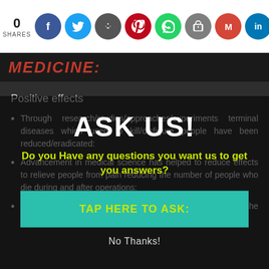0 SHARES
MEDICINE:
Positive effects
Through research/studies/approaches/experiments terminal diseases which used to kill/disfigure people have been reduced/eradicated:
Advancement in medical science has helped to reduce effects to relieve people from pain reducing the number of people who die during and after operations:
The invention of vaccines has helped to prevent/control the spread of diseases leading to increased life expectancy:
[Figure (screenshot): Modal popup overlay with 'ASK US!' heading, question text in yellow-green, teal 'TAP HERE TO ASK:' button, and 'No Thanks!' dismiss option]
ASK US! Do you Have any questions you want us to get you answers? TAP HERE TO ASK: No Thanks!